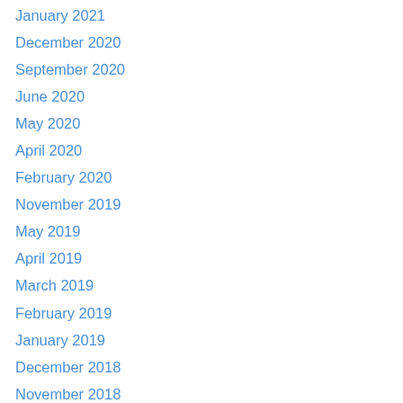January 2021
December 2020
September 2020
June 2020
May 2020
April 2020
February 2020
November 2019
May 2019
April 2019
March 2019
February 2019
January 2019
December 2018
November 2018
September 2018
August 2018
July 2018
April 2018
February 2018